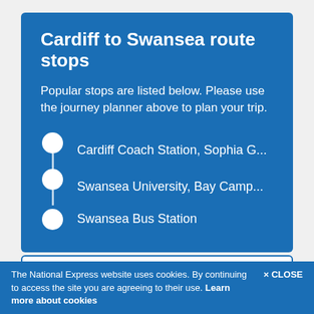Cardiff to Swansea route stops
Popular stops are listed below. Please use the journey planner above to plan your trip.
Cardiff Coach Station, Sophia G...
Swansea University, Bay Camp...
Swansea Bus Station
The National Express website uses cookies. By continuing to access the site you are agreeing to their use. Learn more about cookies
× CLOSE